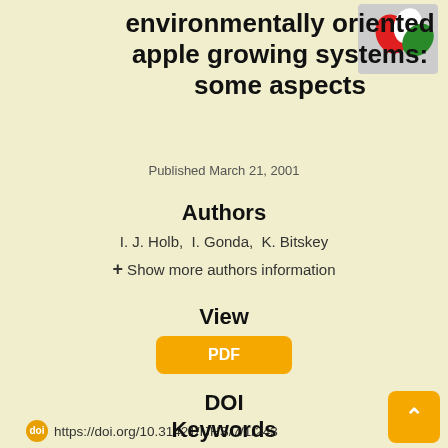environmentally oriented apple growing systems: some aspects
[Figure (logo): Journal logo with red, white, and green leaf/balloon shapes on grey background]
Published March 21, 2001
Authors
I. J. Holb,  I. Gonda,  K. Bitskey
+ Show more authors information
View
PDF
DOI
https://doi.org/10.31421/IJHS/7/1/243
Keywords